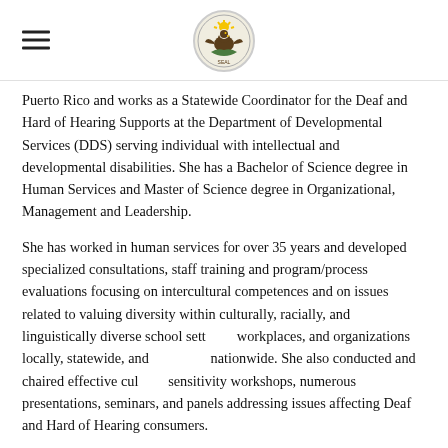[hamburger menu icon] [government seal logo]
Puerto Rico and works as a Statewide Coordinator for the Deaf and Hard of Hearing Supports at the Department of Developmental Services (DDS) serving individual with intellectual and developmental disabilities. She has a Bachelor of Science degree in Human Services and Master of Science degree in Organizational, Management and Leadership.
She has worked in human services for over 35 years and developed specialized consultations, staff training and program/process evaluations focusing on intercultural competences and on issues related to valuing diversity within culturally, racially, and linguistically diverse school settings, workplaces, and organizations locally, statewide, and nationwide. She also conducted and chaired effective cultural sensitivity workshops, numerous presentations, seminars, and panels addressing issues affecting Deaf and Hard of Hearing consumers.